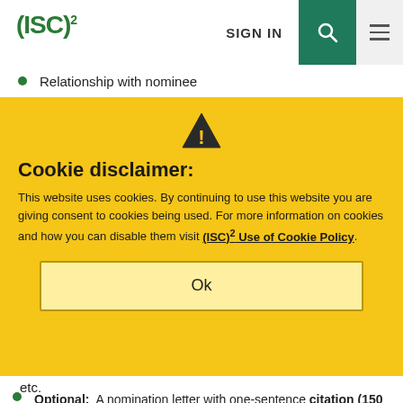(ISC)² SIGN IN [search] [menu]
Relationship with nominee
Cookie disclaimer:

This website uses cookies. By continuing to use this website you are giving consent to cookies being used. For more information on cookies and how you can disable them visit (ISC)² Use of Cookie Policy.
Ok
etc.
Optional: A nomination letter with one-sentence citation (150 characters or less). Letterhead stationery is